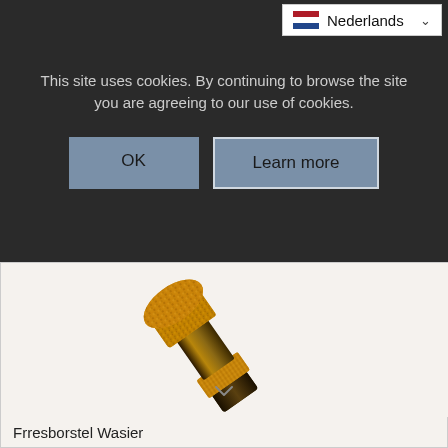This site uses cookies. By continuing to browse the site you are agreeing to our use of cookies.
OK
Learn more
Nederlands
[Figure (photo): Close-up photo of a diamond-coated milling brush or abrasive tool with a metallic body and golden-yellow textured abrasive coating, photographed at an angle against a white background.]
Frresborstel Wasier